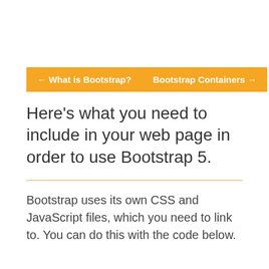← What is Bootstrap?
Bootstrap Containers →
Here's what you need to include in your web page in order to use Bootstrap 5.
Bootstrap uses its own CSS and JavaScript files, which you need to link to. You can do this with the code below.